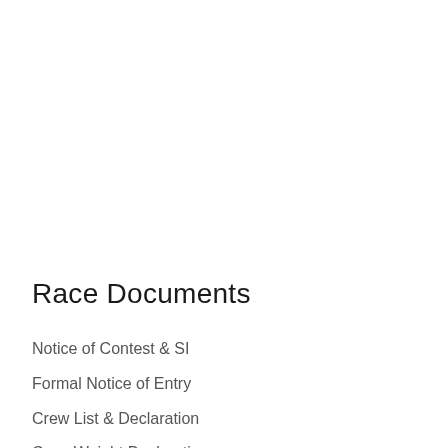Race Documents
Notice of Contest & SI
Formal Notice of Entry
Crew List & Declaration
Crew Weight Declaration
Amendments